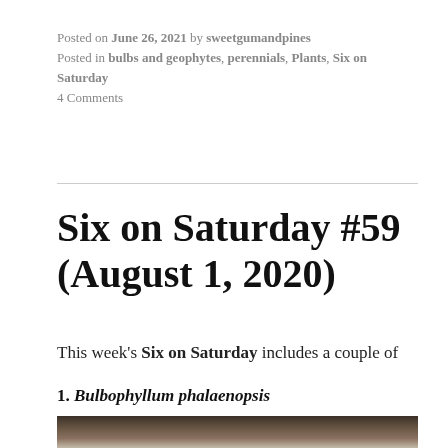Posted on June 26, 2021 by sweetgumandpines
Posted in bulbs and geophytes, perennials, Plants, Six on Saturday
4 Comments
Six on Saturday #59 (August 1, 2020)
This week's Six on Saturday includes a couple of native species, an unusual vegetable, a cute little bulb from South Africa, a classic Victorian hybrid, and a greenhouse orchid that is really very nasty.
1. Bulbophyllum phalaenopsis
[Figure (photo): Bottom portion of a photograph showing what appears to be a plant or orchid specimen, partially visible at the bottom of the page.]